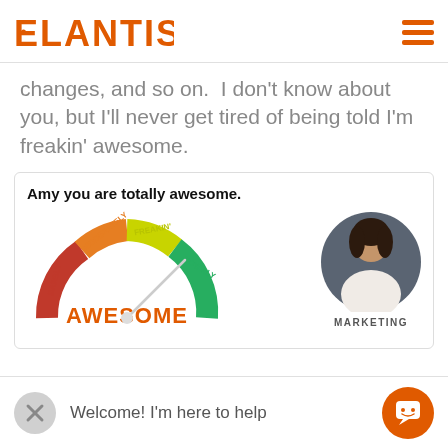ELANTIS
changes, and so on.  I don't know about you, but I'll never get tired of being told I'm freakin' awesome.
[Figure (infographic): Card with title 'Amy you are totally awesome.' showing an awesome-meter gauge (from BARELY to MODERATELY to FREAKIN' to TOTALLY AWESOME) with needle pointing to TOTALLY, beside a circular profile photo of a woman with label MARKETING]
Welcome! I'm here to help